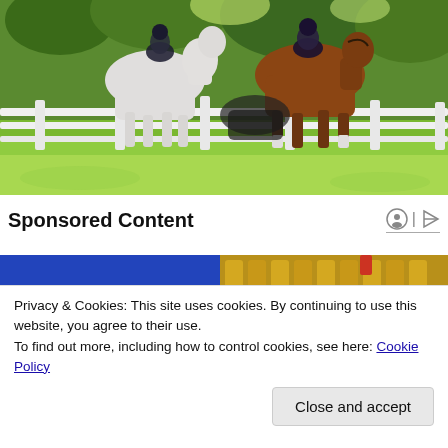[Figure (photo): Two riders on horseback — one on a white horse and one on a brown/chestnut horse — riding along a white fence in a green grassy field with trees in the background.]
Sponsored Content
[Figure (photo): Partially visible image with blue background and gold/yellow cylindrical shapes along with red elements — appears to be a decorative or competitive equestrian scene.]
Privacy & Cookies: This site uses cookies. By continuing to use this website, you agree to their use.
To find out more, including how to control cookies, see here: Cookie Policy
Close and accept